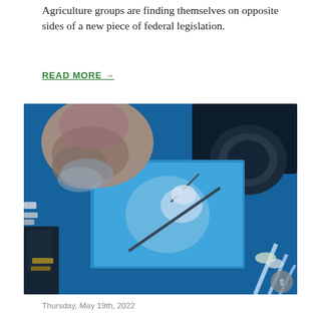Agriculture groups are finding themselves on opposite sides of a new piece of federal legislation.
READ MORE →
[Figure (photo): Close-up photograph of a scientist or researcher looking through a microscope or optical instrument, with laboratory equipment including glass tubes, connectors, and wires visible in the foreground, all bathed in blue light.]
Thursday, May 19th, 2022